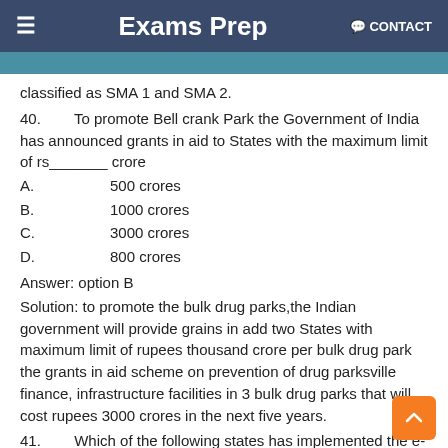≡   Exams Prep   💬 CONTACT
classified as SMA 1 and SMA 2.
40.        To promote Bell crank Park the Government of India has announced grants in aid to States with the maximum limit of rs_______ crore
A.          500 crores
B.          1000 crores
C.          3000 crores
D.          800 crores
Answer: option B
Solution: to promote the bulk drug parks,the Indian government will provide grains in add two States with maximum limit of rupees thousand crore per bulk drug park the grants in aid scheme on prevention of drug parksville finance, infrastructure facilities in 3 bulk drug parks that will cost rupees 3000 crores in the next five years.
41.        Which of the following states has implemented the e-